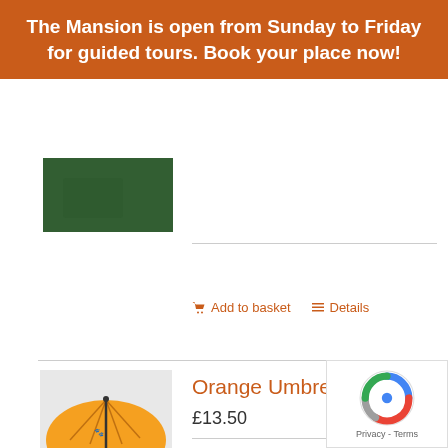The Mansion is open from Sunday to Friday for guided tours. Book your place now!
[Figure (photo): Product thumbnail image showing green background]
Add to basket   Details
[Figure (photo): Orange umbrella product photo - person holding open orange umbrella outdoors]
Orange Umbrella
£13.50
Brighten up a rainy day with one of our orange umbrellas